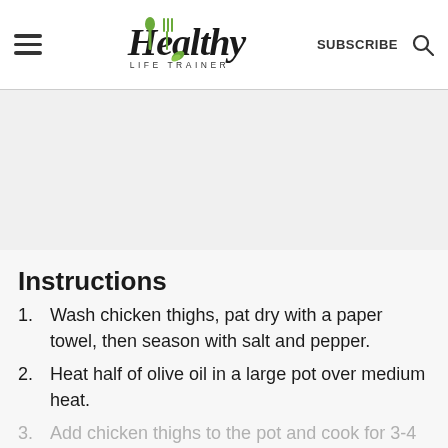Healthy Life Trainer | SUBSCRIBE
[Figure (other): Advertisement / banner placeholder area (gray background)]
Instructions
Wash chicken thighs, pat dry with a paper towel, then season with salt and pepper.
Heat half of olive oil in a large pot over medium heat.
Add chicken thighs to the pot and cook for 3-4 minutes until golden; set aside